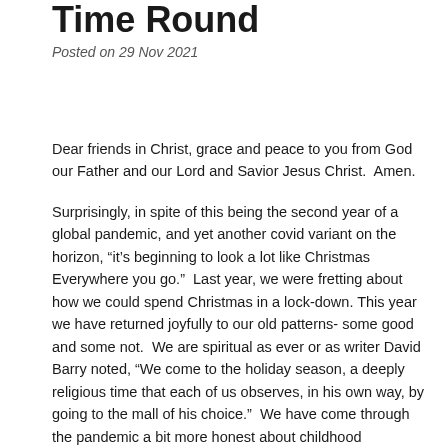Time Round
Posted on 29 Nov 2021
Dear friends in Christ, grace and peace to you from God our Father and our Lord and Savior Jesus Christ.  Amen.
Surprisingly, in spite of this being the second year of a global pandemic, and yet another covid variant on the horizon, “it’s beginning to look a lot like Christmas Everywhere you go.”  Last year, we were fretting about how we could spend Christmas in a lock-down. This year we have returned joyfully to our old patterns- some good and some not.  We are spiritual as ever or as writer David Barry noted, “We come to the holiday season, a deeply religious time that each of us observes, in his own way, by going to the mall of his choice.”  We have come through the pandemic a bit more honest about childhood memories and the pandemic 15.  “You know you’re getting older when Santa starts looking younger.”  We are regretfully just as cynical, “I bought my kids a set of batteries for Christmas with a note on it saying ‘toys not included.’”  And after a year of Zoom calls and virtual gatherings, we are just